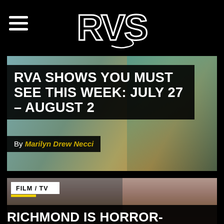RVS (logo)
RVA SHOWS YOU MUST SEE THIS WEEK: JULY 27 – AUGUST 2
By Marilyn Drew Necci
[Figure (photo): People in a room, article thumbnail for RVA shows article]
FILM / TV
[Figure (photo): Person with horror makeup being applied by a redheaded person in a dressing room]
RICHMOND IS HORROR-